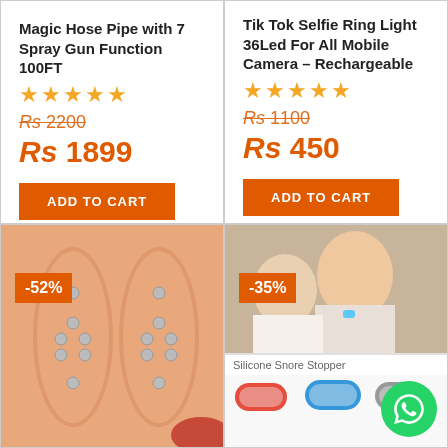Magic Hose Pipe with 7 Spray Gun Function 100FT
Rs 2200 (strikethrough), Rs 1899
ADD TO CART
Tik Tok Selfie Ring Light 36Led For All Mobile Camera – Rechargeable
Rs 1100 (strikethrough), Rs 450
ADD TO CART
[Figure (photo): Magnetic insole shoe pads with metal studs, shown in pairs, with -52% discount badge]
[Figure (photo): Silicone snore stopper nose device, shown with sleeping couple and three product variants (red, blue, gray), with -35% discount badge and WhatsApp button]